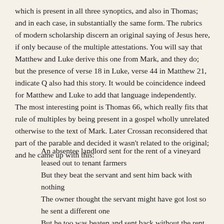which is present in all three synoptics, and also in Thomas; and in each case, in substantially the same form. The rubrics of modern scholarship discern an original saying of Jesus here, if only because of the multiple attestations. You will say that Matthew and Luke derive this one from Mark, and they do; but the presence of verse 18 in Luke, verse 44 in Matthew 21, indicate Q also had this story. It would be coincidence indeed for Matthew and Luke to add that language independently. The most interesting point is Thomas 66, which really fits that rule of multiples by being present in a gospel wholly unrelated otherwise to the text of Mark. Later Crossan reconsidered that part of the parable and decided it wasn't related to the original; and he came up with this:
An absentee landlord sent for the rent of a vineyard leased out to tenant farmers
But they beat the servant and sent him back with nothing
The owner thought the servant might have got lost so he sent a different one
But he too was beaten and sent back without the rent